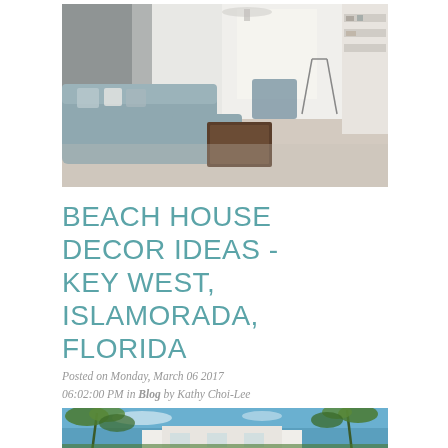[Figure (photo): Interior of a beach house living room with light blue sectional sofa, dark wood coffee table, white shelving, and large windows with natural light.]
BEACH HOUSE DECOR IDEAS - KEY WEST, ISLAMORADA, FLORIDA
Posted on Monday, March 06 2017 06:02:00 PM in Blog by Kathy Choi-Lee
[Figure (photo): Exterior of a Florida beach house with palm trees, blue sky, and tropical vegetation.]